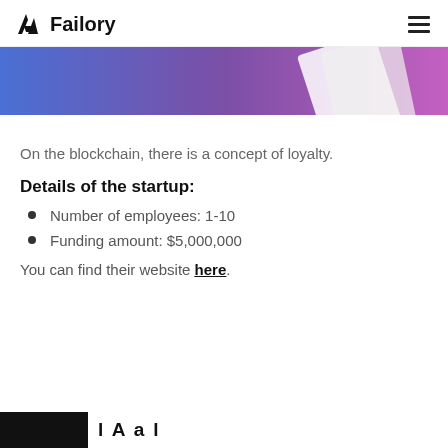Failory
[Figure (photo): Hero banner image with blue-to-purple gradient and a partially visible white document or book on the right side]
On the blockchain, there is a concept of loyalty.
Details of the startup:
Number of employees: 1-10
Funding amount: $5,000,000
You can find their website here.